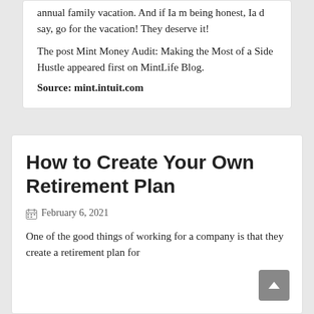annual family vacation. And if Ia’m being honest, Ia’d say, go for the vacation! They deserve it!
The post Mint Money Audit: Making the Most of a Side Hustle appeared first on MintLife Blog.
Source: mint.intuit.com
How to Create Your Own Retirement Plan
February 6, 2021
One of the good things of working for a company is that they create a retirement plan for